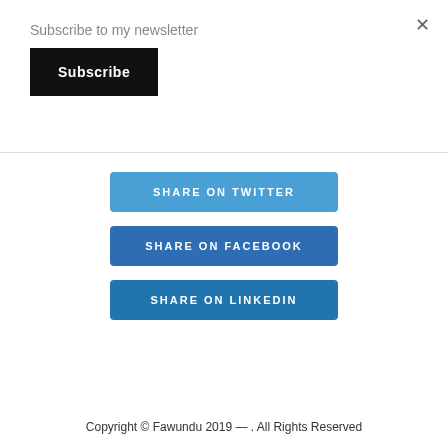×
Subscribe to my newsletter
Subscribe
SHARE ON TWITTER
SHARE ON FACEBOOK
SHARE ON LINKEDIN
Copyright © Fawundu 2019 — . All Rights Reserved